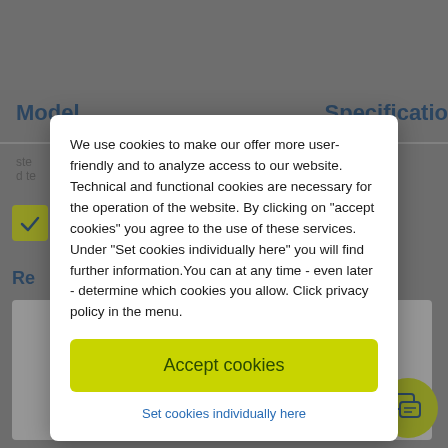Model
Specification
We use cookies to make our offer more user-friendly and to analyze access to our website. Technical and functional cookies are necessary for the operation of the website. By clicking on "accept cookies" you agree to the use of these services. Under "Set cookies individually here" you will find further information. You can at any time - even later - determine which cookies you allow. Click privacy policy in the menu.
Accept cookies
Set cookies individually here